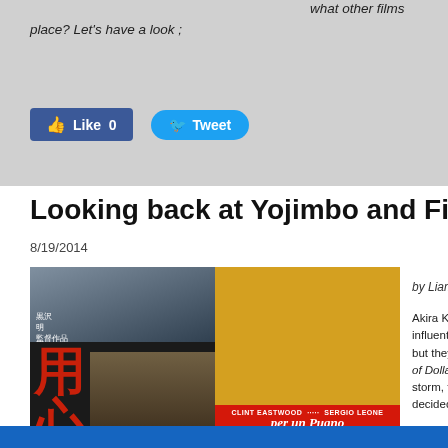what other films
place? Let's have a look ;
[Figure (screenshot): Facebook Like button showing 0 likes]
[Figure (screenshot): Twitter Tweet button]
Looking back at Yojimbo and Fistfu
8/19/2014
[Figure (photo): Side-by-side movie posters: Yojimbo (Japanese samurai film) on the left with kanji text, and Per un Pugno di Dollari (A Fistful of Dollars) on the right featuring Clint Eastwood and Sergio Leone credits]
by Liam McMil
Akira Kurosawa influential, ye but they met of Dollars, Ser storm, that wa decided to wat